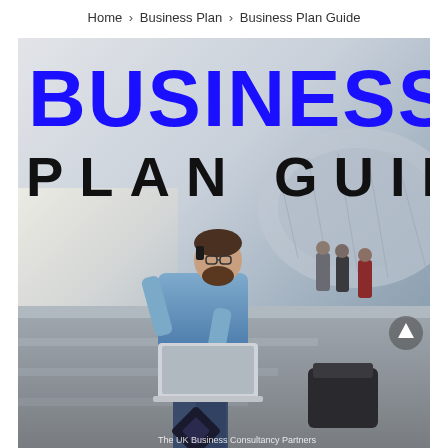Home › Business Plan › Business Plan Guide
[Figure (photo): Business Plan Guide cover image showing large bold text 'BUSINESS' in blue and 'PLAN GUIDE' in black overlaid on a photo of a bearded man in a blue shirt sitting outdoors on steps, talking on a phone with a laptop on his lap, with a modern glass building in the background and other people visible in the distance.]